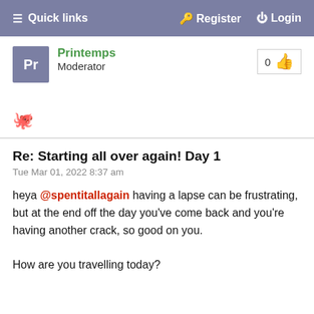☰ Quick links    🔑 Register  ⏻ Login
Pr Printemps Moderator
0 👍
🐾
Re: Starting all over again! Day 1
Tue Mar 01, 2022 8:37 am
heya @spentitallagain having a lapse can be frustrating, but at the end off the day you've come back and you're having another crack, so good on you.

How are you travelling today?